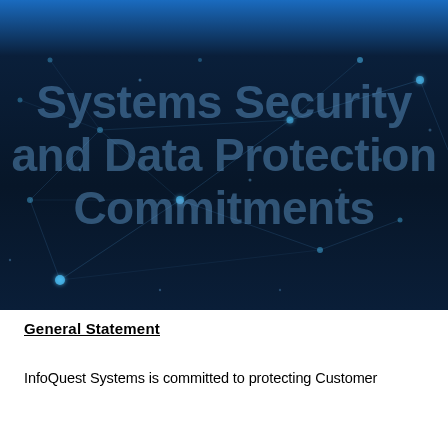[Figure (illustration): Dark blue background with network/constellation pattern of connected nodes and lines, with large semi-transparent text reading 'Systems Security and Data Protection Commitments']
General Statement
InfoQuest Systems is committed to protecting Customer